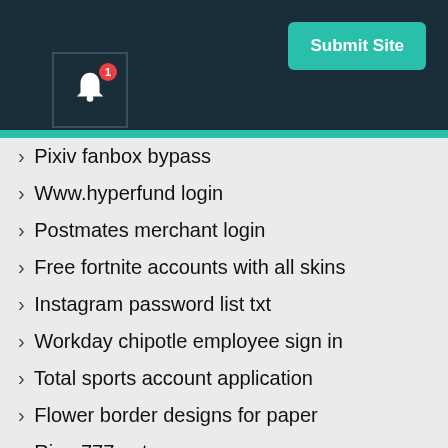[Figure (screenshot): Dark navy header with a teal Submit Site button top-right and a bell notification icon with badge showing 1, bottom-left of header area]
› Pixiv fanbox bypass
› Www.hyperfund login
› Postmates merchant login
› Free fortnite accounts with all skins
› Instagram password list txt
› Workday chipotle employee sign in
› Total sports account application
› Flower border designs for paper
› River777.net
› Beteagle login
› Plex tv link sign in code
› Myjdfaccount bill pay
› Isagenix back office my account
› Tommelisa.xo